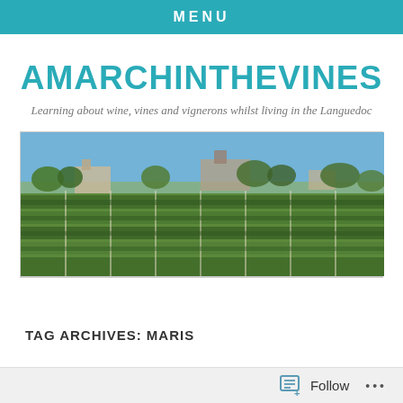MENU
AMARCHINTHEVINES
Learning about wine, vines and vignerons whilst living in the Languedoc
[Figure (photo): Panoramic view of a vineyard in the Languedoc region with rows of green vines in the foreground and buildings and trees on the horizon under a blue sky.]
TAG ARCHIVES: MARIS
Follow ...